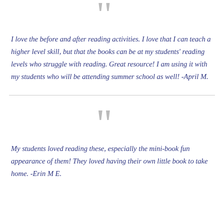[Figure (illustration): Large gray decorative opening quotation mark symbol at top center]
I love the before and after reading activities. I love that I can teach a higher level skill, but that the books can be at my students' reading levels who struggle with reading. Great resource! I am using it with my students who will be attending summer school as well! -April M.
[Figure (illustration): Large gray decorative opening quotation mark symbol centered]
My students loved reading these, especially the mini-book fun appearance of them! They loved having their own little book to take home. -Erin M E.